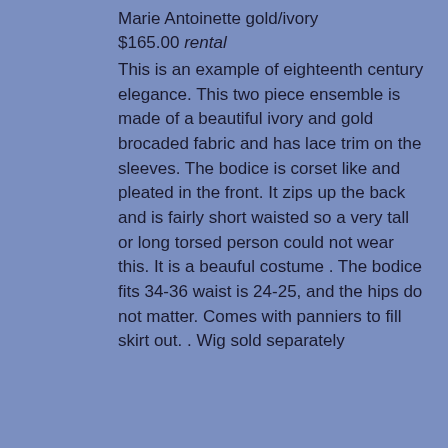Marie Antoinette gold/ivory
$165.00 rental
This is an example of eighteenth century elegance. This two piece ensemble is made of a beautiful ivory and gold brocaded fabric and has lace trim on the sleeves. The bodice is corset like and pleated in the front. It zips up the back and is fairly short waisted so a very tall or long torsed person could not wear this. It is a beauful costume . The bodice fits 34-36 waist is 24-25, and the hips do not matter. Comes with panniers to fill skirt out. . Wig sold separately